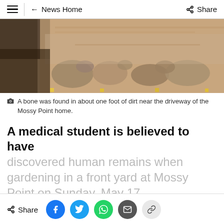≡  ← News Home    Share
[Figure (photo): Photograph of rocky dirt excavation near a driveway, showing exposed stones and sandy soil with small yellow markers visible at the bottom.]
A bone was found in about one foot of dirt near the driveway of the Mossy Point home.
A medical student is believed to have discovered human remains when gardening in a front yard at Mossy Point on Sunday, May 17.
Share  [Facebook] [Twitter] [WhatsApp] [Email] [Link]